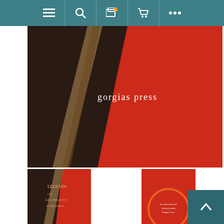[Figure (screenshot): Website navigation bar with menu, search, notification, cart, and more icons on teal background]
[Figure (photo): Hero banner showing book cover of Gorgias Press publication with dark brown and red diagonal design and 'gorgias press' text in white]
[Figure (photo): Thumbnail of book front cover - red and dark brown diagonal design with title text]
[Figure (photo): Thumbnail of book back cover - red with circular orange design and barcode]
[Figure (infographic): Five empty star rating (all grey/hollow stars)]
In this GP edition, scholars and students will find Wensinck's collection of texts from Ethiopic, Arabic, Syriac, and Latin manuscripts, as well as English translations of the legends of Archelides and Hilaria, assembled in one volume.